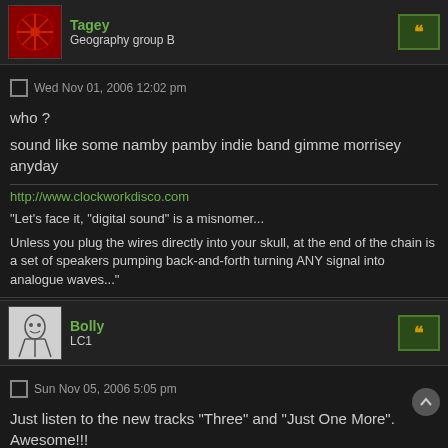Tagey — Geography group B
Wed Nov 01, 2006 12:02 pm
who ?

sound like some namby pamby indie band gimme morrisey anyday
http://www.clockworkdisco.com

"Let's face it, "digital sound" is a misnomer...

Unless you plug the wires directly into your skull, at the end of the chain is a set of speakers pumping back-and-forth turning ANY signal into analogue waves..."
Bolly — LC1
Sun Nov 05, 2006 5:05 pm
Just listen to the new tracks "Three" and "Just One More". Awesome!!!